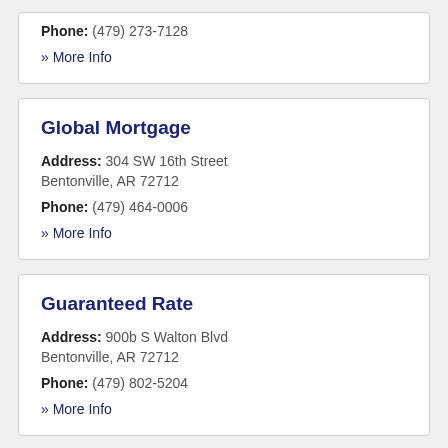Phone: (479) 273-7128
» More Info
Global Mortgage
Address: 304 SW 16th Street Bentonville, AR 72712
Phone: (479) 464-0006
» More Info
Guaranteed Rate
Address: 900b S Walton Blvd Bentonville, AR 72712
Phone: (479) 802-5204
» More Info